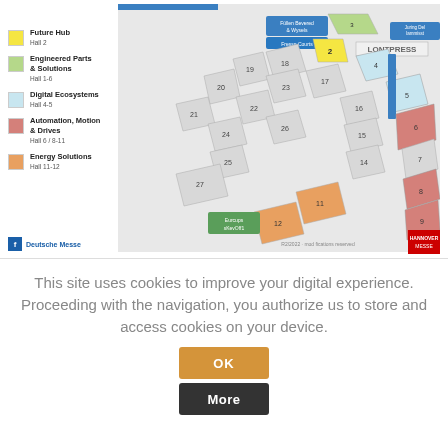[Figure (map): Hannover Messe trade fair hall map with color-coded sections for Future Hub (Hall 2), Engineered Parts & Solutions (Halls 1-6), Digital Ecosystems (Halls 4-5), Automation Motion & Drives (Halls 6/8-11), Energy Solutions (Halls 11-12). Shows numbered halls in isometric view with exhibitor labels.]
Future Hub
Hall 2
Engineered Parts & Solutions
Hall 1-6
Digital Ecosystems
Hall 4-5
Automation, Motion & Drives
Hall 6 / 8-11
Energy Solutions
Hall 11-12
This site uses cookies to improve your digital experience. Proceeding with the navigation, you authorize us to store and access cookies on your device.
OK
More